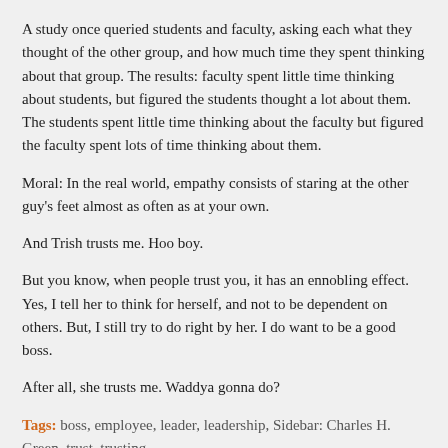A study once queried students and faculty, asking each what they thought of the other group, and how much time they spent thinking about that group. The results: faculty spent little time thinking about students, but figured the students thought a lot about them. The students spent little time thinking about the faculty but figured the faculty spent lots of time thinking about them.
Moral: In the real world, empathy consists of staring at the other guy's feet almost as often as at your own.
And Trish trusts me. Hoo boy.
But you know, when people trust you, it has an ennobling effect. Yes, I tell her to think for herself, and not to be dependent on others. But, I still try to do right by her. I do want to be a good boss.
After all, she trusts me. Waddya gonna do?
Tags: boss, employee, leader, leadership, Sidebar: Charles H. Green, trust, trusting